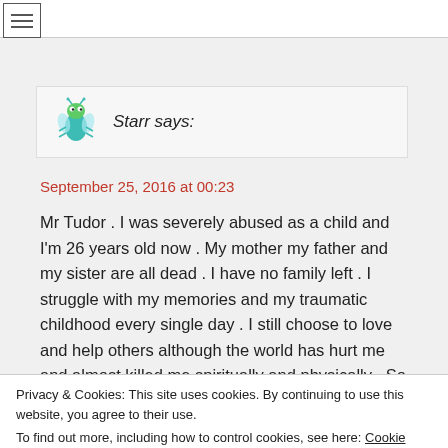≡
[Figure (illustration): Avatar icon of a teal/blue cartoon insect character]
Starr says:
September 25, 2016 at 00:23
Mr Tudor . I was severely abused as a child and I'm 26 years old now . My mother my father and my sister are all dead . I have no family left . I struggle with my memories and my traumatic childhood every single day . I still choose to love and help others although the world has hurt me and almost killed me spiritually and physically . So why is it that I can love and want to help people and save animals especially
Privacy & Cookies: This site uses cookies. By continuing to use this website, you agree to their use.
To find out more, including how to control cookies, see here: Cookie Policy
Close and accept